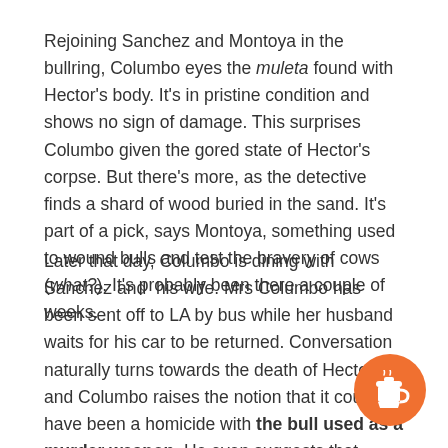Rejoining Sanchez and Montoya in the bullring, Columbo eyes the muleta found with Hector's body. It's in pristine condition and shows no sign of damage. This surprises Columbo given the gored state of Hector's corpse. But there's more, as the detective finds a shard of wood buried in the sand. It's part of a pick, says Montoya, something used to wound bulls and test the bravery of cows (what?). It's probably been there a couple of weeks.
Later that day, Columbo is dining with Sanchez and his wife. Mrs Columbo has been sent off to LA by bus while her husband waits for his car to be returned. Conversation naturally turns towards the death of Hector and Columbo raises the notion that it could have been a homicide with the bull used as a murder weapon. He even suggests that Montoya might have done it, much to the incredulity of Sanchez.
[Figure (illustration): Orange circular button with a coffee cup icon (Buy Me a Coffee style button)]